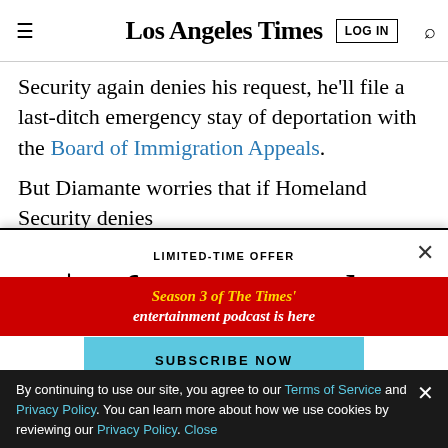Los Angeles Times
Security again denies his request, he'll file a last-ditch emergency stay of deportation with the Board of Immigration Appeals.
But Diamante worries that if Homeland Security denies
LIMITED-TIME OFFER
$1 for 6 Months
SUBSCRIBE NOW
By continuing to use our site, you agree to our Terms of Service and Privacy Policy. You can learn more about how we use cookies by reviewing our Privacy Policy. Close
Season 3 of The Times' entertainment podcast is here